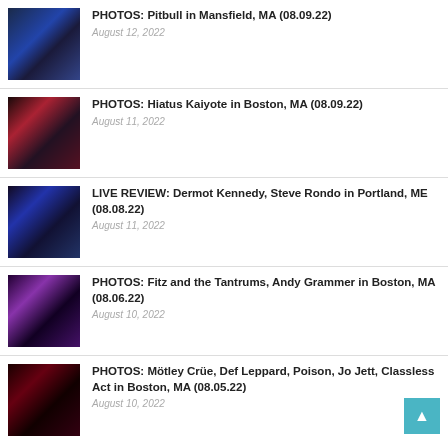PHOTOS: Pitbull in Mansfield, MA (08.09.22)
August 12, 2022
PHOTOS: Hiatus Kaiyote in Boston, MA (08.09.22)
August 11, 2022
LIVE REVIEW: Dermot Kennedy, Steve Rondo in Portland, ME (08.08.22)
August 11, 2022
PHOTOS: Fitz and the Tantrums, Andy Grammer in Boston, MA (08.06.22)
August 10, 2022
PHOTOS: Mötley Crüe, Def Leppard, Poison, Jo Jett, Classless Act in Boston, MA (08.05.22)
August 10, 2022